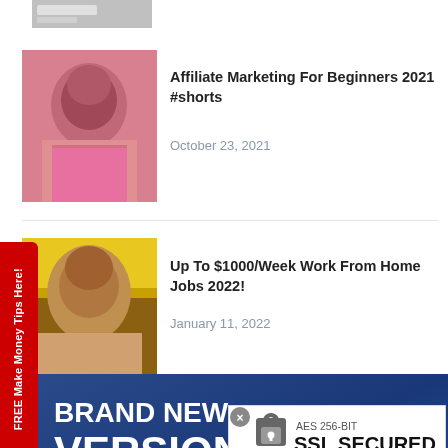[Figure (photo): Partial thumbnail of a video or post, clipped at top of page]
Affiliate Marketing For Beginners 2021 #shorts
October 23, 2021
Up To $1000/Week Work From Home Jobs 2022!
January 11, 2022
[Figure (infographic): Blue ad banner: BRAND NEW: VERSION 4.0 - The License To Clone A Turnkey Online Business Today, with a diagram of connected icons and an SSL SECURED badge]
FREE Make Money Tips Here!